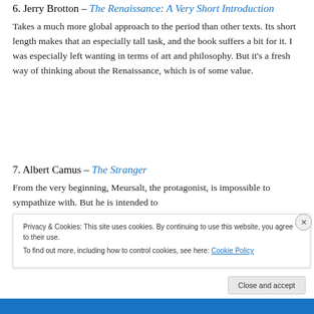6. Jerry Brotton – The Renaissance: A Very Short Introduction
Takes a much more global approach to the period than other texts. Its short length makes that an especially tall task, and the book suffers a bit for it. I was especially left wanting in terms of art and philosophy. But it's a fresh way of thinking about the Renaissance, which is of some value.
7. Albert Camus – The Stranger
From the very beginning, Meursalt, the protagonist, is impossible to sympathize with. But he is intended to...
Privacy & Cookies: This site uses cookies. By continuing to use this website, you agree to their use.
To find out more, including how to control cookies, see here: Cookie Policy
Close and accept